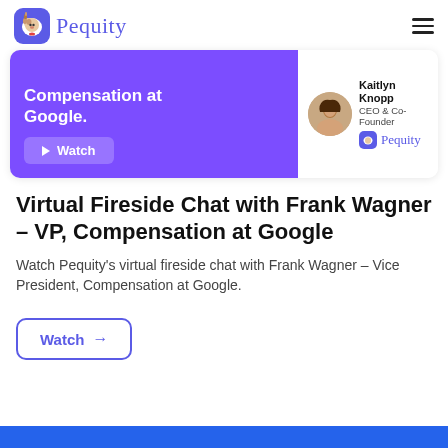Pequity
[Figure (screenshot): Pequity promotional banner showing a video thumbnail for 'Compensation at Google' with a Watch button, and a profile card for Kaitlyn Knopp, CEO & Co-Founder of Pequity]
Virtual Fireside Chat with Frank Wagner – VP, Compensation at Google
Watch Pequity's virtual fireside chat with Frank Wagner – Vice President, Compensation at Google.
Watch →